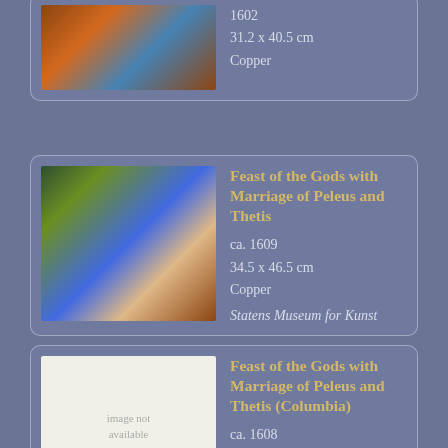[Figure (illustration): Partial card at top showing a painting (partially cut off) with date 1602, dimensions 31.2 x 40.5 cm, medium Copper]
1602
31.2 x 40.5 cm
Copper
[Figure (illustration): Painting card: Feast of the Gods with Marriage of Peleus and Thetis, ca. 1609, 34.5 x 46.5 cm, Copper, Statens Museum for Kunst]
Feast of the Gods with Marriage of Peleus and Thetis
ca. 1609
34.5 x 46.5 cm
Copper
Statens Museum for Kunst
[Figure (illustration): Card with image not available placeholder for Feast of the Gods with Marriage of Peleus and Thetis (Columbia), ca. 1608, 106.7 x 177.8 cm, Panel]
Feast of the Gods with Marriage of Peleus and Thetis (Columbia)
ca. 1608
106.7 x 177.8 cm
Panel